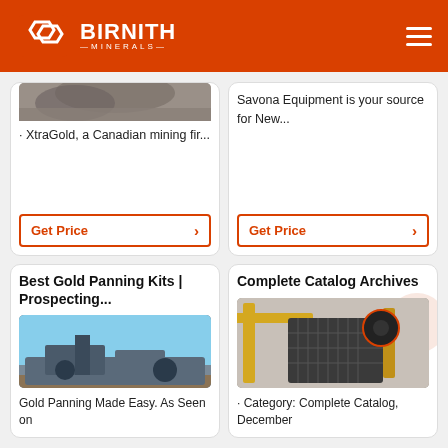BIRNITH MINERALS
· XtraGold, a Canadian mining fir...
Get Price
Savona Equipment is your source for New...
Get Price
Best Gold Panning Kits | Prospecting...
[Figure (photo): Mining equipment / crusher machinery outdoors on gravel surface]
Gold Panning Made Easy. As Seen on
Complete Catalog Archives
[Figure (photo): Industrial jaw crusher machine in a factory setting with yellow and black machinery]
· Category: Complete Catalog, December